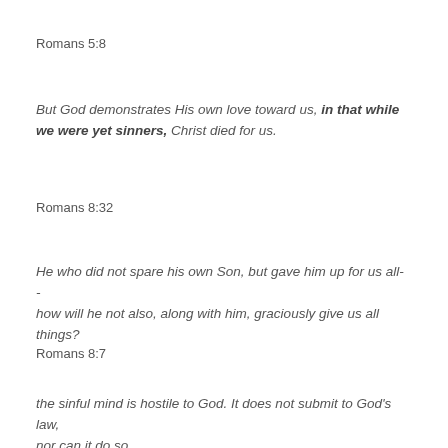Romans 5:8
But God demonstrates His own love toward us, in that while we were yet sinners, Christ died for us.
Romans 8:32
He who did not spare his own Son, but gave him up for us all-- how will he not also, along with him, graciously give us all things?
Romans 8:7
the sinful mind is hostile to God. It does not submit to God's law, nor can it do so.